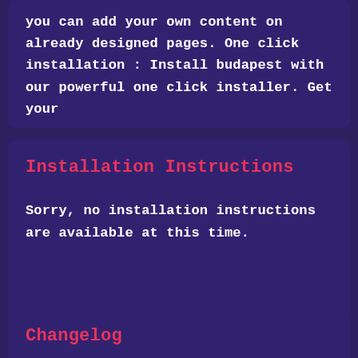you can add your own content on already designed pages. One click installation : Install budapest with our powerful one click installer. Get your
Installation Instructions
Sorry, no installation instructions are available at this time.
Changelog